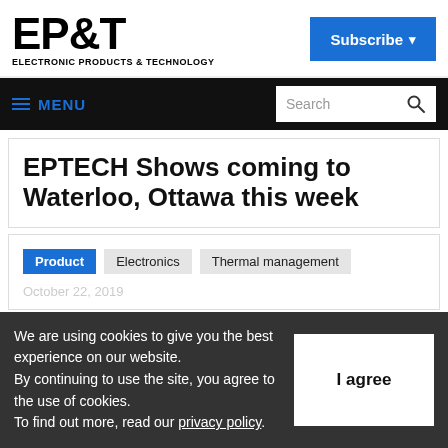EP&T ELECTRONIC PRODUCTS & TECHNOLOGY
EPTECH Shows coming to Waterloo, Ottawa this week
Product  Electronics  Thermal management
We are using cookies to give you the best experience on our website. By continuing to use the site, you agree to the use of cookies. To find out more, read our privacy policy.